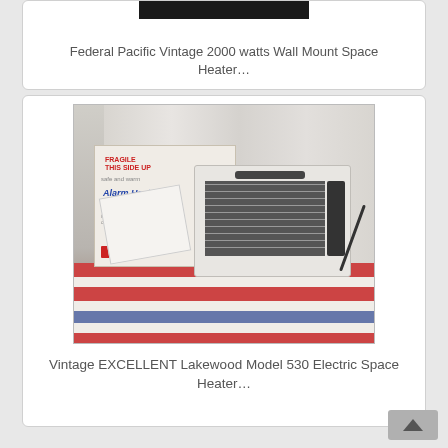Federal Pacific Vintage 2000 watts Wall Mount Space Heater…
[Figure (photo): Photo of a vintage Lakewood Model 530 Electric Space Heater with its original box labeled 'Alarm Heater', and papers/manual on a striped rug]
Vintage EXCELLENT Lakewood Model 530 Electric Space Heater…